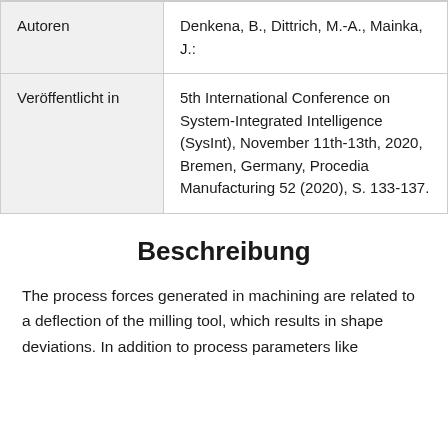| Autoren | Denkena, B., Dittrich, M.-A., Mainka, J.: |
| Veröffentlicht in | 5th International Conference on System-Integrated Intelligence (SysInt), November 11th-13th, 2020, Bremen, Germany, Procedia Manufacturing 52 (2020), S. 133-137. |
Beschreibung
The process forces generated in machining are related to a deflection of the milling tool, which results in shape deviations. In addition to process parameters like